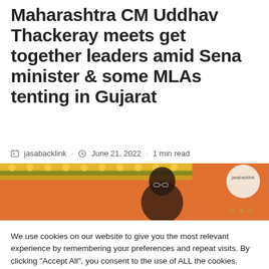Maharashtra CM Uddhav Thackeray meets get together leaders amid Sena minister & some MLAs tenting in Gujarat
jasabacklink · June 21, 2022 · 1 min read
[Figure (photo): Photo of a person (Uddhav Thackeray) with floral garland decorations on orange background]
We use cookies on our website to give you the most relevant experience by remembering your preferences and repeat visits. By clicking "Accept All", you consent to the use of ALL the cookies. However, you may visit "Cookie Settings" to provide a controlled consent.